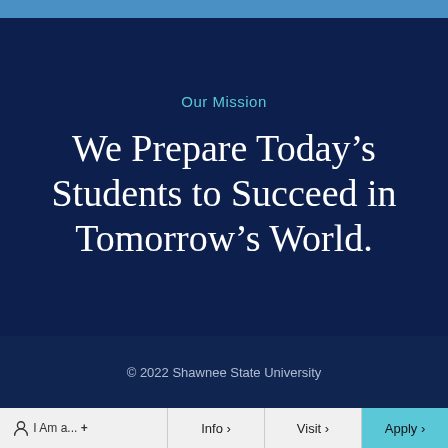Our Mission
We Prepare Today’s Students to Succeed in Tomorrow’s World.
© 2022 Shawnee State University
I Am a... +
Info ›
Visit ›
Apply ›